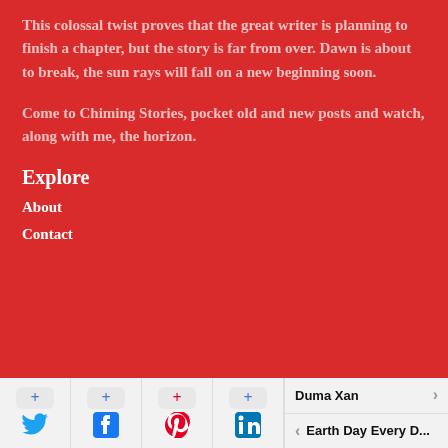This colossal twist proves that the great writer is planning to finish a chapter, but the story is far from over. Dawn is about to break, the sun rays will fall on a new beginning soon.
Come to Chiming Stories, pocket old and new posts and watch, along with me, the horizon.
Explore
About
Contact
[Figure (screenshot): Social share buttons bar with Twitter, Facebook, Pinterest, LinkedIn icons with plus buttons, and navigation links to Duma Xan and Earth Day Every D...]